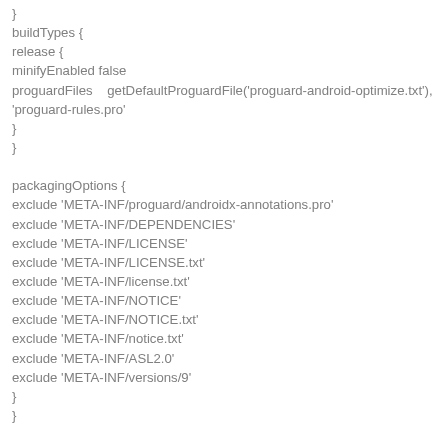}
buildTypes {
release {
minifyEnabled false
proguardFiles    getDefaultProguardFile('proguard-android-optimize.txt'), 'proguard-rules.pro'
}
}

packagingOptions {
exclude 'META-INF/proguard/androidx-annotations.pro'
exclude 'META-INF/DEPENDENCIES'
exclude 'META-INF/LICENSE'
exclude 'META-INF/LICENSE.txt'
exclude 'META-INF/license.txt'
exclude 'META-INF/NOTICE'
exclude 'META-INF/NOTICE.txt'
exclude 'META-INF/notice.txt'
exclude 'META-INF/ASL2.0'
exclude 'META-INF/versions/9'
}
}